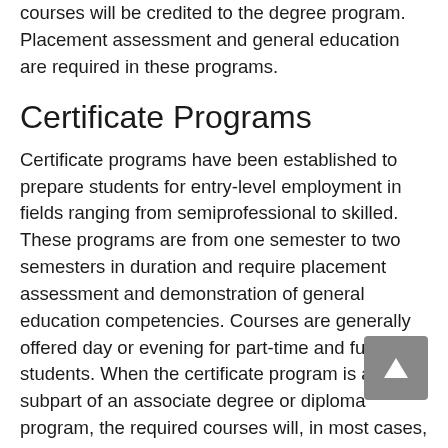subpart of an associate degree program, the required courses will be credited to the degree program. Placement assessment and general education are required in these programs.
Certificate Programs
Certificate programs have been established to prepare students for entry-level employment in fields ranging from semiprofessional to skilled. These programs are from one semester to two semesters in duration and require placement assessment and demonstration of general education competencies. Courses are generally offered day or evening for part-time and full-time students. When the certificate program is a subpart of an associate degree or diploma program, the required courses will, in most cases, be credited to the parent